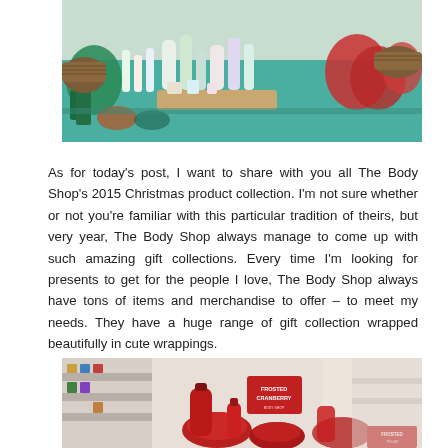[Figure (photo): A display table with various Body Shop products including bottles, containers, and decorative items in green, red, and clear colors arranged on a teal/green table surface with wicker baskets.]
As for today's post, I want to share with you all The Body Shop's 2015 Christmas product collection. I'm not sure whether or not you're familiar with this particular tradition of theirs, but very year, The Body Shop always manage to come up with such amazing gift collections. Every time I'm looking for presents to get for the people I love, The Body Shop always have tons of items and merchandise to offer – to meet my needs. They have a huge range of gift collection wrapped beautifully in cute wrappings.
[Figure (photo): A Body Shop store display showing red Frosted Cranberry products including bottles and tins arranged on a retail shelf, with a red sign reading 'FROSTED CRANBERRY'.]